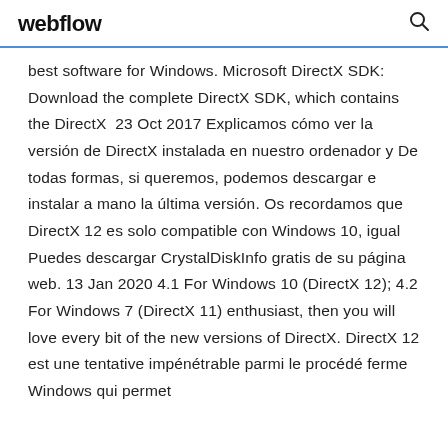webflow
best software for Windows. Microsoft DirectX SDK: Download the complete DirectX SDK, which contains the DirectX  23 Oct 2017 Explicamos cómo ver la versión de DirectX instalada en nuestro ordenador y De todas formas, si queremos, podemos descargar e instalar a mano la última versión. Os recordamos que DirectX 12 es solo compatible con Windows 10, igual Puedes descargar CrystalDiskInfo gratis de su página web. 13 Jan 2020 4.1 For Windows 10 (DirectX 12); 4.2 For Windows 7 (DirectX 11) enthusiast, then you will love every bit of the new versions of DirectX. DirectX 12 est une tentative impénétrable parmi le procédé ferme Windows qui permet